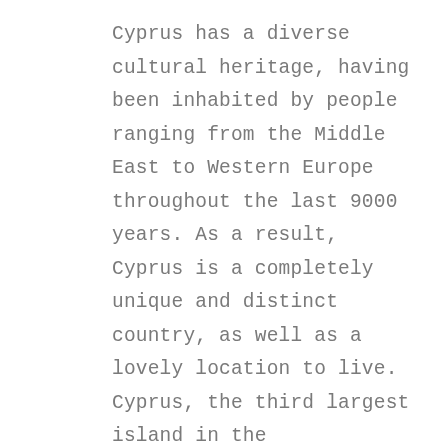Cyprus has a diverse cultural heritage, having been inhabited by people ranging from the Middle East to Western Europe throughout the last 9000 years. As a result, Cyprus is a completely unique and distinct country, as well as a lovely location to live. Cyprus, the third largest island in the Mediterranean Sea, with a broad spectrum of landscapes and cities. Property in Cyprus may be found in some lovely places, ranging from the pine-clad Troodos Mountains in the island's interior to the bustling streets of Nicosia. Many visitors come to Cyprus to enjoy the traditional pristine beaches and blue waters. Thousands of tourists flock to resort towns like Ayia Napa to party late into the night. More celebrities will come and browse the